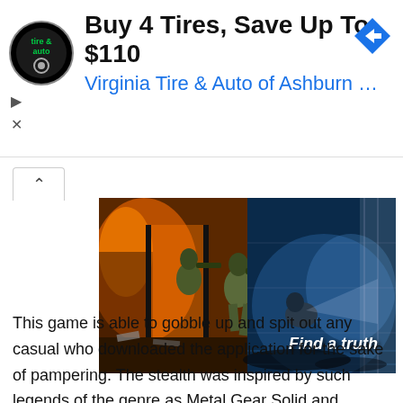[Figure (screenshot): Advertisement banner for Virginia Tire & Auto of Ashburn with headline 'Buy 4 Tires, Save Up To $110' and blue subtext with logo and arrow icon]
[Figure (photo): Video game screenshot showing soldiers in combat with orange fire on left side transitioning to blue-lit stealth scene on right, with text 'Find a truth' overlaid in bottom right]
This game is able to gobble up and spit out any casual who downloaded the application for the sake of pampering. The stealth was inspired by such legends of the genre as Metal Gear Solid and Hitman, so the hardcore is provided and rewards the player with interest. The plot is raising the